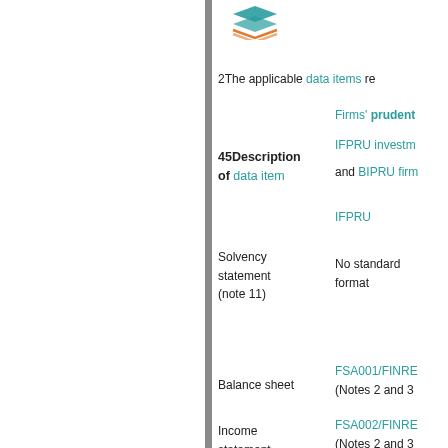[Figure (logo): Stack of layers logo icon in teal/orange]
2The applicable data items re...
Firms' prudent...
IFPRU investm...
45Description of data item
and BIPRU firm...
IFPRU
Solvency statement (note 11)
No standard format
Balance sheet
FSA001/FINRE... (Notes 2 and 3...
Income statement
FSA002/FINRE... (Notes 2 and 3...
Capital
COREP (Note...